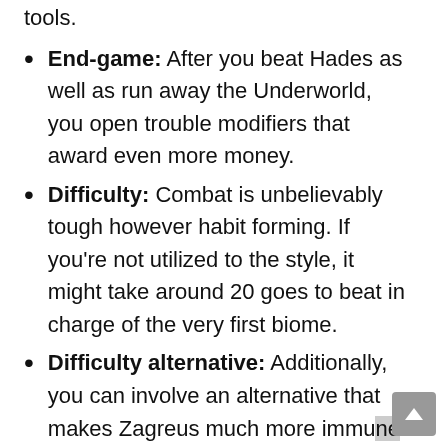tools.
End-game: After you beat Hades as well as run away the Underworld, you open trouble modifiers that award even more money.
Difficulty: Combat is unbelievably tough however habit forming. If you're not utilized to the style, it might take around 20 goes to beat in charge of the very first biome.
Difficulty alternative: Additionally, you can involve an alternative that makes Zagreus much more immune after each fatality. It can relieve your